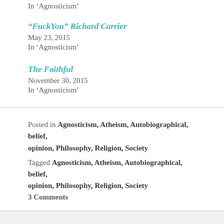In 'Agnosticism'
“FuckYou” Richard Carrier
May 23, 2015
In ‘Agnosticism’
The Faithful
November 30, 2015
In ‘Agnosticism’
Posted in Agnosticism, Atheism, Autobiographical, belief, opinion, Philosophy, Religion, Society
Tagged Agnosticism, Atheism, Autobiographical, belief, opinion, Philosophy, Religion, Society
3 Comments
3 THOUGHTS ON “HOW